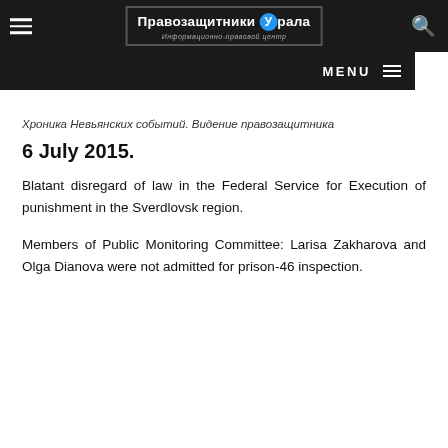Правозащитники Урала — Информационно-правовой центр
Хроника Невьянских событий. Видение правозащитника
6 July 2015.
Blatant disregard of law in the Federal Service for Execution of punishment in the Sverdlovsk region.
Members of Public Monitoring Committee: Larisa Zakharova and Olga Dianova were not admitted for prison-46 inspection.